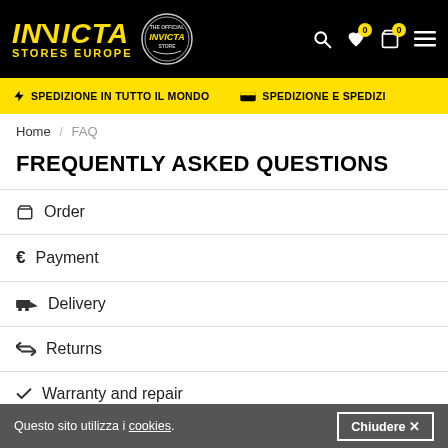INVICTA STORES EUROPE
SPEDIZIONE IN TUTTO IL MONDO   SPEDIZIONE E SPEDIZI
Home / FAQ
FREQUENTLY ASKED QUESTIONS
Order
Payment
Delivery
Returns
Warranty and repair
Account
Questo sito utilizza i cookies.
Chiudere ✕